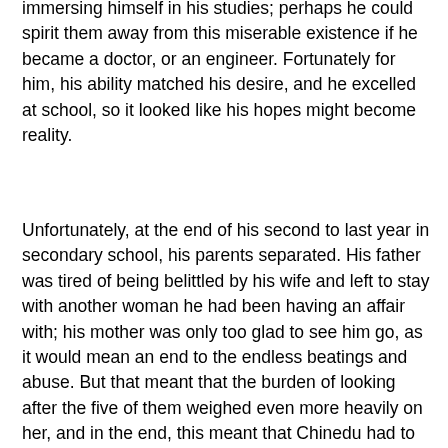immersing himself in his studies; perhaps he could spirit them away from this miserable existence if he became a doctor, or an engineer. Fortunately for him, his ability matched his desire, and he excelled at school, so it looked like his hopes might become reality.
Unfortunately, at the end of his second to last year in secondary school, his parents separated. His father was tired of being belittled by his wife and left to stay with another woman he had been having an affair with; his mother was only too glad to see him go, as it would mean an end to the endless beatings and abuse. But that meant that the burden of looking after the five of them weighed even more heavily on her, and in the end, this meant that Chinedu had to help to augment the family income by acting as an Alabaru, a load porter at the local market. Needless to say, this meant an end to his studies.